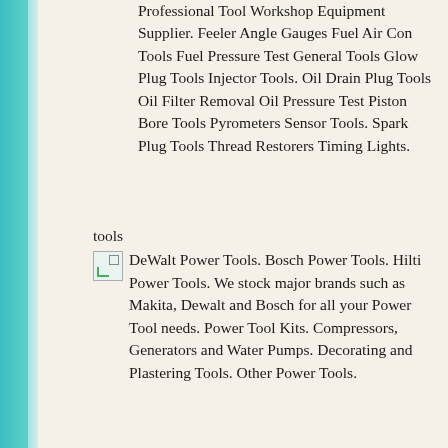Professional Tool Workshop Equipment Supplier. Feeler Angle Gauges Fuel Air Con Tools Fuel Pressure Test General Tools Glow Plug Tools Injector Tools. Oil Drain Plug Tools Oil Filter Removal Oil Pressure Test Piston Bore Tools Pyrometers Sensor Tools. Spark Plug Tools Thread Restorers Timing Lights.
tools DeWalt Power Tools. Bosch Power Tools. Hilti Power Tools. We stock major brands such as Makita, Dewalt and Bosch for all your Power Tool needs. Power Tool Kits. Compressors, Generators and Water Pumps. Decorating and Plastering Tools. Other Power Tools.